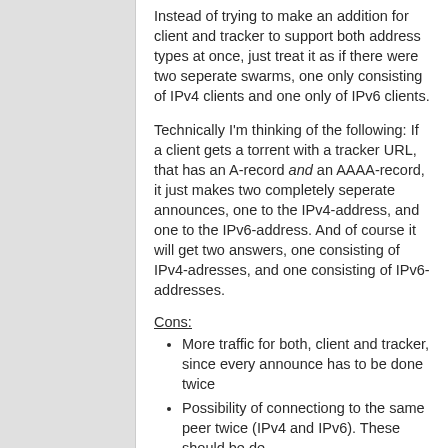Instead of trying to make an addition for client and tracker to support both address types at once, just treat it as if there were two seperate swarms, one only consisting of IPv4 clients and one only of IPv6 clients.
Technically I'm thinking of the following: If a client gets a torrent with a tracker URL, that has an A-record and an AAAA-record, it just makes two completely seperate announces, one to the IPv4-address, and one to the IPv6-address. And of course it will get two answers, one consisting of IPv4-adresses, and one consisting of IPv6-addresses.
Cons:
More traffic for both, client and tracker, since every announce has to be done twice
Possibility of connectiong to the same peer twice (IPv4 and IPv6). These should be de-